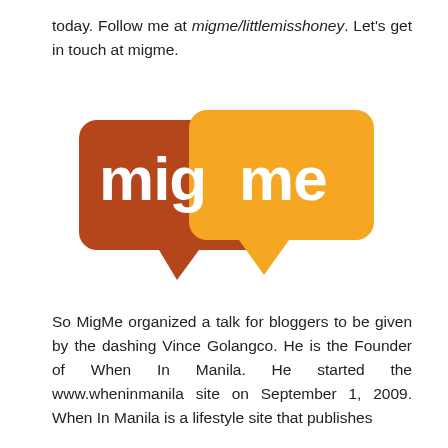today. Follow me at migme/littlemisshoney. Let's get in touch at migme.
[Figure (logo): migme logo — two overlapping speech bubbles, one dark orange/brown on the left with the word 'mig' in white, and one orange on the right with the word 'me' in white, with an arrow/tail pointing downward from the orange bubble.]
So MigMe organized a talk for bloggers to be given by the dashing Vince Golangco. He is the Founder of When In Manila. He started the www.wheninmanila site on September 1, 2009. When In Manila is a lifestyle site that publishes